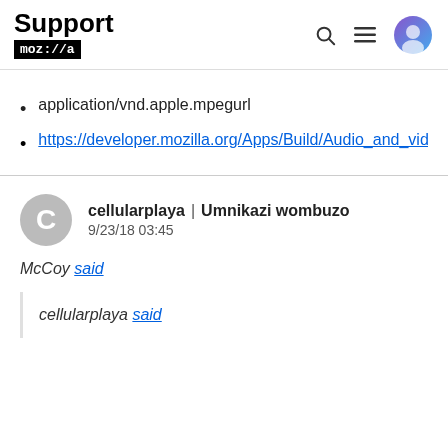Support mozilla | [nav icons]
application/vnd.apple.mpegurl
https://developer.mozilla.org/Apps/Build/Audio_and_vide
cellularplaya | Umnikazi wombuzo
9/23/18 03:45
McCoy said
cellularplaya said